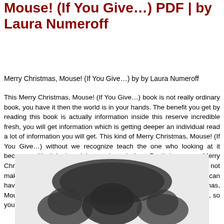Mouse! (If You Give…) PDF | by Laura Numeroff
Merry Christmas, Mouse! (If You Give…) by by Laura Numeroff
This Merry Christmas, Mouse! (If You Give…) book is not really ordinary book, you have it then the world is in your hands. The benefit you get by reading this book is actually information inside this reserve incredible fresh, you will get information which is getting deeper an individual read a lot of information you will get. This kind of Merry Christmas, Mouse! (If You Give…) without we recognize teach the one who looking at it become critical in imagining and analyzing. Don't be worry Merry Christmas, Mouse! (If You Give…) can bring any time you are and not make your tote space or bookshelves' grow to be full because you can have it inside your lovely laptop even cell phone. This Merry Christmas, Mouse! (If You Give…) having great arrangement in word and layout, so you will not really feel uninterested in reading.
[Figure (photo): A blurred/redacted image of what appears to be a book cover or illustration related to Merry Christmas, Mouse!, shown in grayscale with dark blurred shapes.]